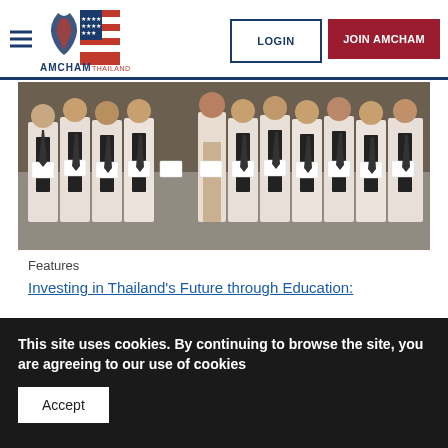AMCHAM Thailand website navigation bar with LOGIN and JOIN AMCHAM buttons
[Figure (photo): Group photo of approximately 12 young male students in white shirts and dark ties, plus one woman in the center wearing beige pants, all holding certificates, posing at a formal event]
Features
Investing in Thailand's Future through Education:
This site uses cookies. By continuing to browse the site, you are agreeing to our use of cookies
Accept